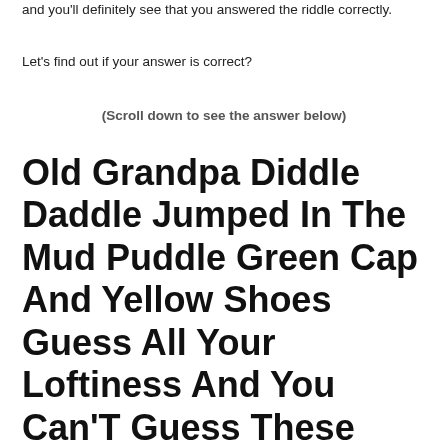and you'll definitely see that you answered the riddle correctly.
Let's find out if your answer is correct?
(Scroll down to see the answer below)
Old Grandpa Diddle Daddle Jumped In The Mud Puddle Green Cap And Yellow Shoes Guess All Your Loftiness And You Can’T Guess These News riddle answer